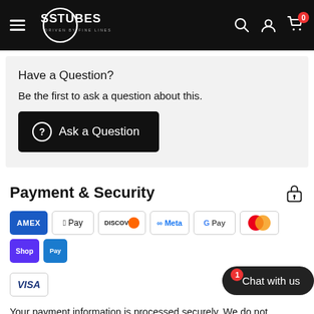SS Tubes - Driven by Fine Lines
Have a Question?
Be the first to ask a question about this.
Ask a Question
Payment & Security
[Figure (logo): Payment method icons: Amex, Apple Pay, Discover, Meta Pay, Google Pay, Mastercard, Shop Pay, Visa]
Your payment information is processed securely. We do not